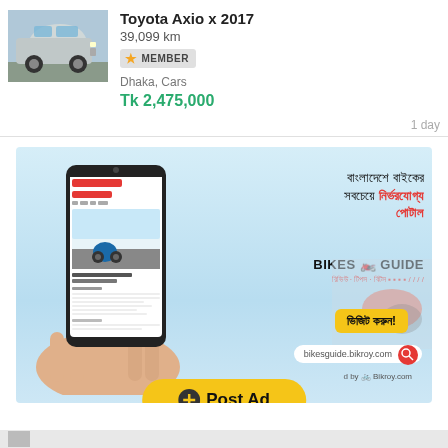[Figure (photo): Silver Toyota Axio car thumbnail photo]
Toyota Axio x 2017
39,099 km
MEMBER
Dhaka, Cars
Tk 2,475,000
1 day
[Figure (infographic): Bikes Guide advertisement banner showing a hand holding a smartphone with the Bikes Guide website, Bengali text reading 'Bangladesh Biker Shobcheye Nirvorjogyo Portal', BIKES GUIDE logo, visit button, URL bar bikesguide.bikroy.com, and Post Ad button at the bottom]